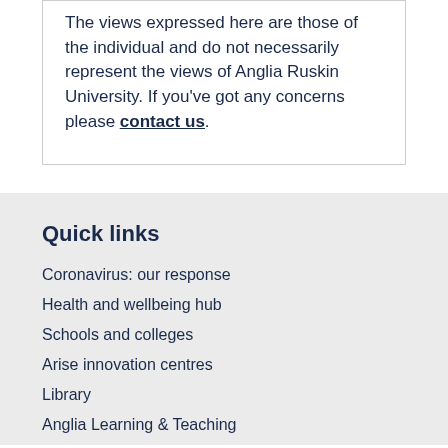The views expressed here are those of the individual and do not necessarily represent the views of Anglia Ruskin University. If you've got any concerns please contact us.
Quick links
Coronavirus: our response
Health and wellbeing hub
Schools and colleges
Arise innovation centres
Library
Anglia Learning & Teaching
Online payment portal